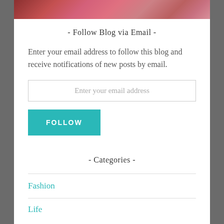[Figure (photo): Partial view of a painting showing a woman in red/pink clothing, cropped at top of page]
- Follow Blog via Email -
Enter your email address to follow this blog and receive notifications of new posts by email.
Enter your email address
FOLLOW
- Categories -
Fashion
Life